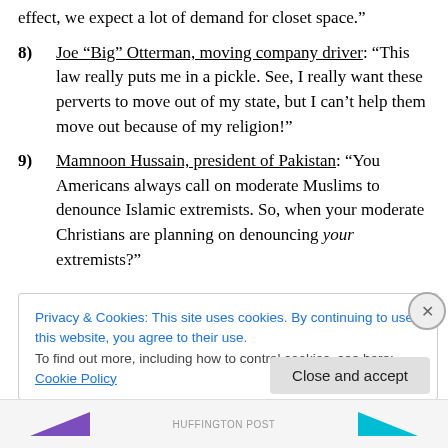effect, we expect a lot of demand for closet space.”
8)  Joe “Big” Otterman, moving company driver: “This law really puts me in a pickle. See, I really want these perverts to move out of my state, but I can’t help them move out because of my religion!”
9)  Mamnoon Hussain, president of Pakistan: “You Americans always call on moderate Muslims to denounce Islamic extremists. So, when your moderate Christians are planning on denouncing your extremists?”
Privacy & Cookies: This site uses cookies. By continuing to use this website, you agree to their use. To find out more, including how to control cookies, see here: Cookie Policy